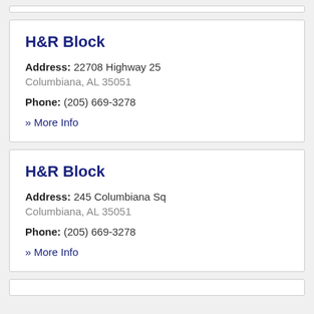H&R Block
Address: 22708 Highway 25
Columbiana, AL 35051
Phone: (205) 669-3278
» More Info
H&R Block
Address: 245 Columbiana Sq
Columbiana, AL 35051
Phone: (205) 669-3278
» More Info